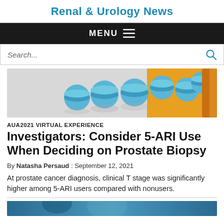Renal & Urology News
MENU
Search...
[Figure (photo): Blue/teal pills scattered on a surface with an orange pill bottle, overhead pharmaceutical shot]
AUA2021 VIRTUAL EXPERIENCE
Investigators: Consider 5-ARI Use When Deciding on Prostate Biopsy
By Natasha Persaud : September 12, 2021
At prostate cancer diagnosis, clinical T stage was significantly higher among 5-ARI users compared with nonusers.
[Figure (photo): Partial view of a person, blurred medical/clinical background in blue tones]